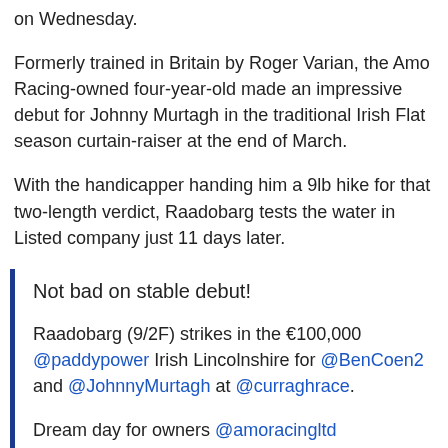on Wednesday.
Formerly trained in Britain by Roger Varian, the Amo Racing-owned four-year-old made an impressive debut for Johnny Murtagh in the traditional Irish Flat season curtain-raiser at the end of March.
With the handicapper handing him a 9lb hike for that two-length verdict, Raadobarg tests the water in Listed company just 11 days later.
Not bad on stable debut!
Raadobarg (9/2F) strikes in the €100,000 @paddypower Irish Lincolnshire for @BenCoen2 and @JohnnyMurtagh at @curraghrace.
Dream day for owners @amoracingltd
pic.twitter.com/lJNpuEE03kg